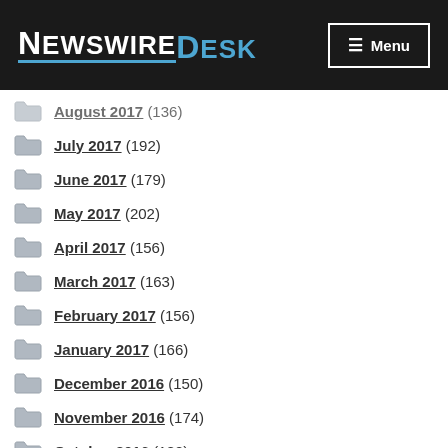NewswireDesk — Menu
August 2017 (136)
July 2017 (192)
June 2017 (179)
May 2017 (202)
April 2017 (156)
March 2017 (163)
February 2017 (156)
January 2017 (166)
December 2016 (150)
November 2016 (174)
October 2016 (182)